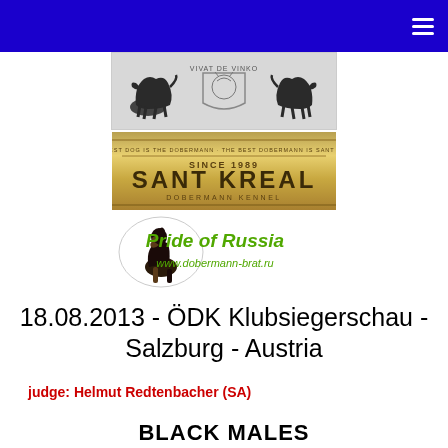navigation bar with hamburger menu
[Figure (logo): Vivat de Vinko kennel logo with two dobermann silhouettes flanking a crest/shield emblem]
[Figure (logo): Sant Kreal Dobermann Kennel logo - gold/olive banner reading SINCE 1989 SANT KREAL DOBERMANN KENNEL with tagline THE BEST DOG IS THE DOBERMANN]
[Figure (logo): Pride of Russia kennel logo with a sitting Dobermann and green italic text Pride of Russia and www.dobermann-brat.ru]
18.08.2013 - ÖDK Klubsiegerschau - Salzburg - Austria
judge: Helmut Redtenbacher (SA)
BLACK MALES